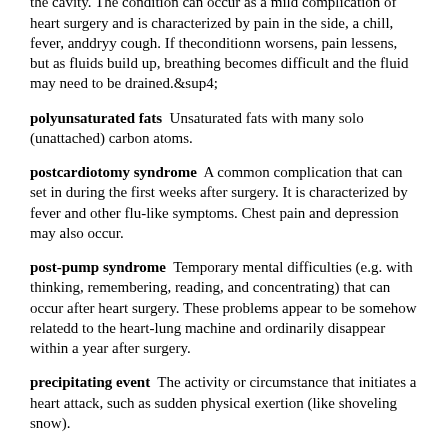which lines the chest cavity accompanied by fluid exuded into the cavity. The condition can occur as a mild complication of heart surgery and is characterized by pain in the side, a chill, fever, anddryy cough. If theconditionn worsens, pain lessens, but as fluids build up, breathing becomes difficult and the fluid may need to be drained.⁴
polyunsaturated fats  Unsaturated fats with many solo (unattached) carbon atoms.
postcardiotomy syndrome  A common complication that can set in during the first weeks after surgery. It is characterized by fever and other flu-like symptoms. Chest pain and depression may also occur.
post-pump syndrome  Temporary mental difficulties (e.g. with thinking, remembering, reading, and concentrating) that can occur after heart surgery. These problems appear to be somehow relatedd to the heart-lung machine and ordinarily disappear within a year after surgery.
precipitating event  The activity or circumstance that initiates a heart attack, such as sudden physical exertion (like shoveling snow).
primary care physician  An internist (a specialist in adult care) or a family doctor who